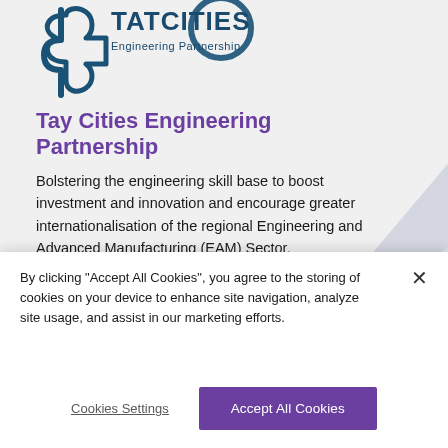[Figure (logo): Tay Cities Engineering Partnership logo — partial view showing puzzle-piece icon and wordmark 'TATCITIES Engineering Partnership' in dark teal]
Tay Cities Engineering Partnership
Bolstering the engineering skill base to boost investment and innovation and encourage greater internationalisation of the regional Engineering and Advanced Manufacturing (EAM) Sector.
By clicking "Accept All Cookies", you agree to the storing of cookies on your device to enhance site navigation, analyze site usage, and assist in our marketing efforts.